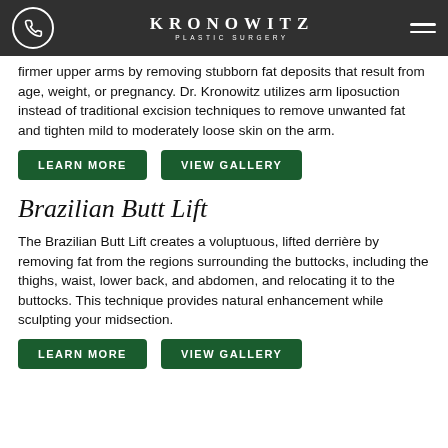KRONOWITZ PLASTIC SURGERY
firmer upper arms by removing stubborn fat deposits that result from age, weight, or pregnancy. Dr. Kronowitz utilizes arm liposuction instead of traditional excision techniques to remove unwanted fat and tighten mild to moderately loose skin on the arm.
LEARN MORE
VIEW GALLERY
Brazilian Butt Lift
The Brazilian Butt Lift creates a voluptuous, lifted derrière by removing fat from the regions surrounding the buttocks, including the thighs, waist, lower back, and abdomen, and relocating it to the buttocks. This technique provides natural enhancement while sculpting your midsection.
LEARN MORE
VIEW GALLERY